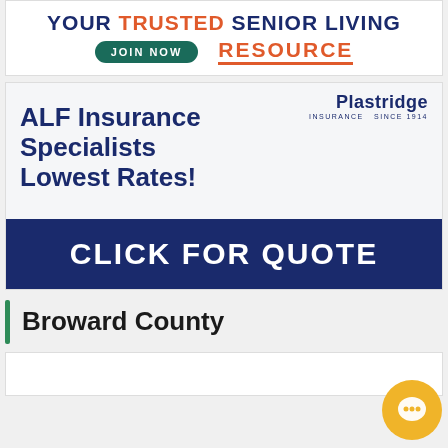[Figure (infographic): Senior Living Resource banner with 'YOUR TRUSTED SENIOR LIVING RESOURCE' text, JOIN NOW button, orange and dark blue colors]
[Figure (infographic): Plastridge Insurance advertisement: 'ALF Insurance Specialists Lowest Rates!' with dark navy 'CLICK FOR QUOTE' button bar]
Broward County